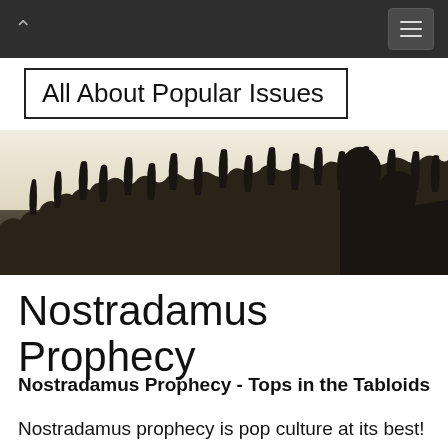All About Popular Issues [navigation bar]
All About Popular Issues
[Figure (photo): Sepia-toned crowd of people with raised hands and arms, silhouetted against a light background]
Nostradamus Prophecy
Nostradamus Prophecy - Tops in the Tabloids
Nostradamus prophecy is pop culture at its best! Whenever world events reach a fevered